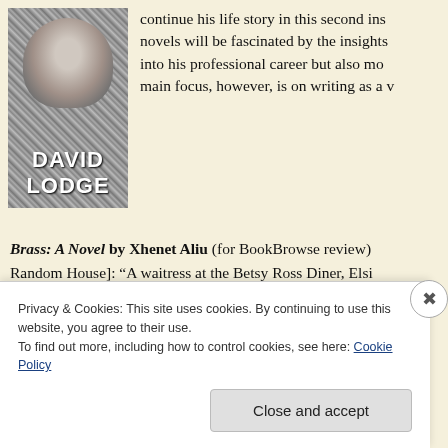[Figure (photo): Black and white photo of David Lodge with his name overlaid in bold white text]
continue his life story in this second ins... novels will be fascinated by the insights into his professional career but also mo... main focus, however, is on writing as a v...
Brass: A Novel by Xhenet Aliu (for BookBrowse review) Random House]: “A waitress at the Betsy Ross Diner, Elsi... her nickel-and-dime tips will add up to a new life. Then s... Bashkim, ... who left Albania to chase his dreams.... Told gripping parallel narratives with biting wit and grace, Br...
Privacy & Cookies: This site uses cookies. By continuing to use this website, you agree to their use.
To find out more, including how to control cookies, see here: Cookie Policy
Close and accept